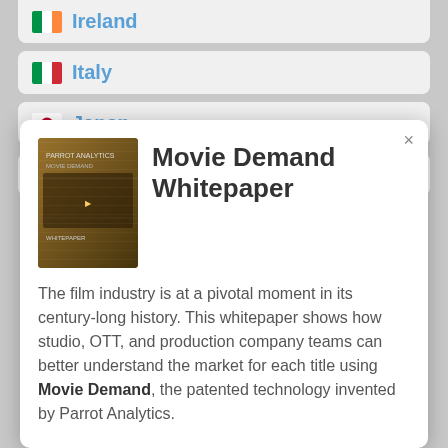Ireland
Italy
Japan
Malaysia
[Figure (screenshot): Modal popup overlay showing Movie Demand Whitepaper with book cover image and descriptive text about the film industry and Parrot Analytics Movie Demand technology]
Mexico
Netherlands
New Zealand
Norway
Philippines